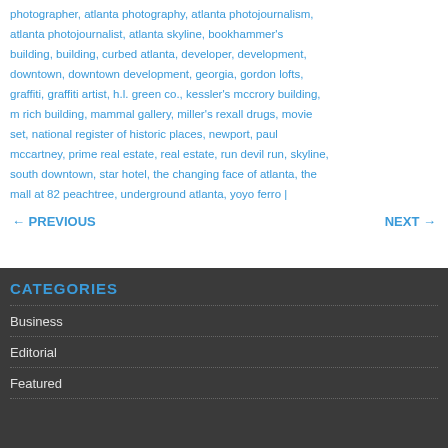photographer, atlanta photography, atlanta photojournalism, atlanta photojournalist, atlanta skyline, bookhammer's building, building, curbed atlanta, developer, development, downtown, downtown development, georgia, gordon lofts, graffiti, graffiti artist, h.l. green co., kessler's mccrory building, m rich building, mammal gallery, miller's rexall drugs, movie set, national register of historic places, newport, paul mccartney, prime real estate, real estate, run devil run, skyline, south downtown, star hotel, the changing face of atlanta, the mall at 82 peachtree, underground atlanta, yoyo ferro |
← PREVIOUS
NEXT →
CATEGORIES
Business
Editorial
Featured